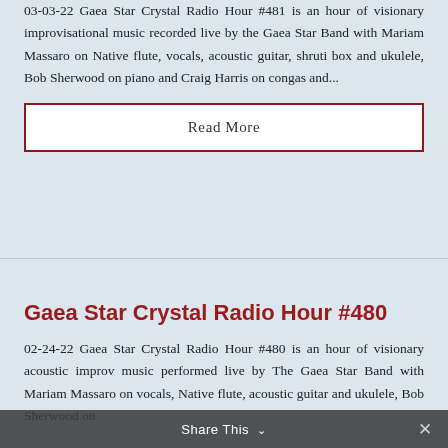03-03-22 Gaea Star Crystal Radio Hour #481 is an hour of visionary improvisational music recorded live by the Gaea Star Band with Mariam Massaro on Native flute, vocals, acoustic guitar, shruti box and ukulele, Bob Sherwood on piano and Craig Harris on congas and...
Read More
Gaea Star Crystal Radio Hour #480
02-24-22 Gaea Star Crystal Radio Hour #480 is an hour of visionary acoustic improv music performed live by The Gaea Star Band with Mariam Massaro on vocals, Native flute, acoustic guitar and ukulele, Bob Sherwood on...
Share This ✓  ×